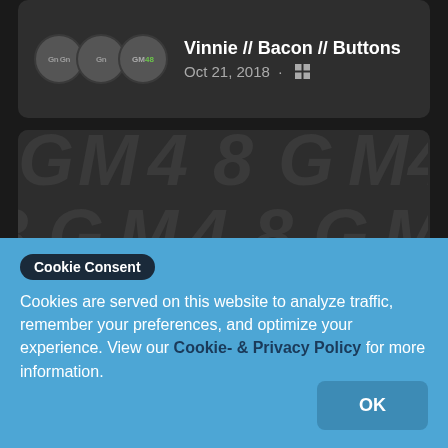Vinnie // Bacon // Buttons
Oct 21, 2018 · ⊞
[Figure (logo): GM48 logo on dark tiled background with repeated G, M, 48 characters. White GM text with green 48 numerals.]
Cookie Consent
Cookies are served on this website to analyze traffic, remember your preferences, and optimize your experience. View our Cookie- & Privacy Policy for more information.